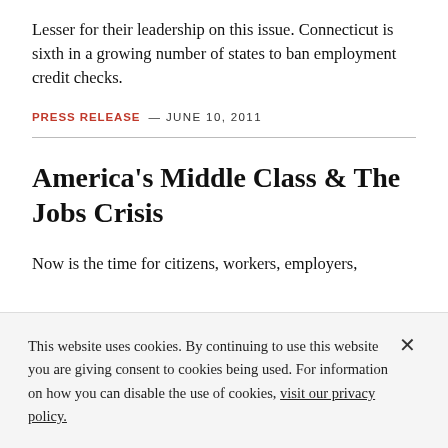Lesser for their leadership on this issue. Connecticut is sixth in a growing number of states to ban employment credit checks.
PRESS RELEASE — JUNE 10, 2011
America's Middle Class & The Jobs Crisis
Now is the time for citizens, workers, employers,
This website uses cookies. By continuing to use this website you are giving consent to cookies being used. For information on how you can disable the use of cookies, visit our privacy policy.